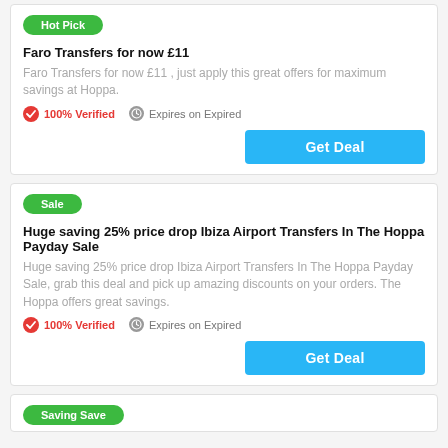Hot Pick
Faro Transfers for now £11
Faro Transfers for now £11 , just apply this great offers for maximum savings at Hoppa.
100% Verified
Expires on Expired
Get Deal
Sale
Huge saving 25% price drop Ibiza Airport Transfers In The Hoppa Payday Sale
Huge saving 25% price drop Ibiza Airport Transfers In The Hoppa Payday Sale, grab this deal and pick up amazing discounts on your orders. The Hoppa offers great savings.
100% Verified
Expires on Expired
Get Deal
Saving Save